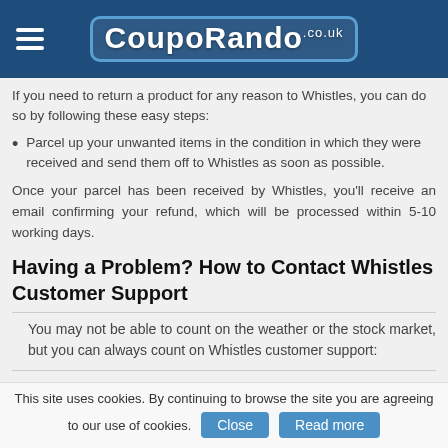CoupoRando.co.uk
If you need to return a product for any reason to Whistles, you can do so by following these easy steps:
Parcel up your unwanted items in the condition in which they were received and send them off to Whistles as soon as possible.
Once your parcel has been received by Whistles, you'll receive an email confirming your refund, which will be processed within 5-10 working days.
Having a Problem? How to Contact Whistles Customer Support
You may not be able to count on the weather or the stock market, but you can always count on Whistles customer support:
This site uses cookies. By continuing to browse the site you are agreeing to our use of cookies. Close Read more